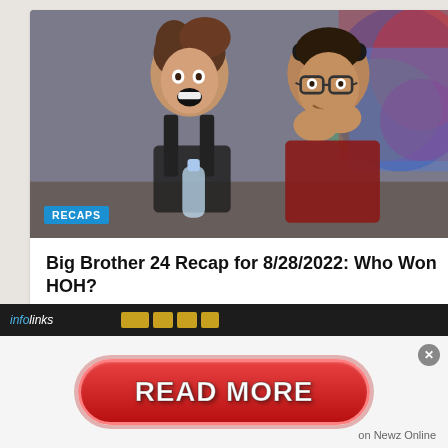[Figure (photo): Two people reacting with shocked/excited expressions — a woman in a black tank top holding a water bottle with mouth open, and a man in a dark red t-shirt with glasses holding his hands to his face. Colorful background visible. A blue 'RECAPS' badge overlays the bottom-left corner.]
Big Brother 24 Recap for 8/28/2022: Who Won HOH?
August 28, 2022   Sammi Turano
[Figure (infographic): Ad banner with infolinks branding bar at top (dark background with gold/yellow block icons), and a large red pill-shaped 'READ MORE' button on a light background. 'on Newz Online' text appears at bottom right. An X close button is at top right.]